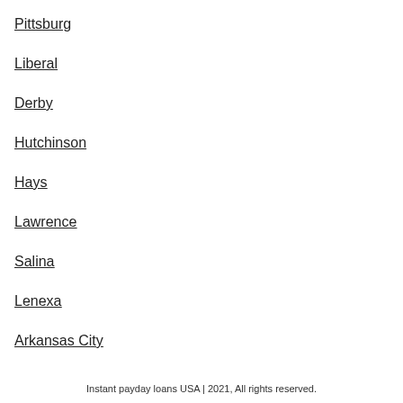Pittsburg
Liberal
Derby
Hutchinson
Hays
Lawrence
Salina
Lenexa
Arkansas City
Instant payday loans USA | 2021, All rights reserved.